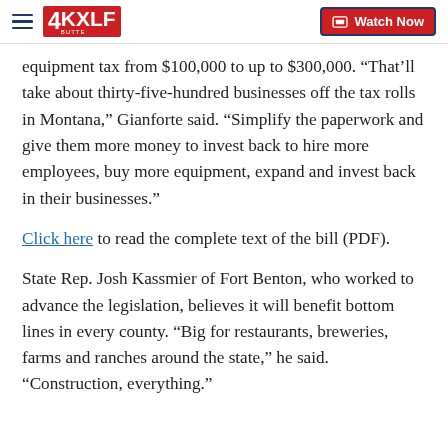4KXLF BUTTE | Watch Now
equipment tax from $100,000 to up to $300,000. “That’ll take about thirty-five-hundred businesses off the tax rolls in Montana,” Gianforte said. “Simplify the paperwork and give them more money to invest back to hire more employees, buy more equipment, expand and invest back in their businesses.”
Click here to read the complete text of the bill (PDF).
State Rep. Josh Kassmier of Fort Benton, who worked to advance the legislation, believes it will benefit bottom lines in every county. “Big for restaurants, breweries, farms and ranches around the state,” he said. “Construction, everything.”